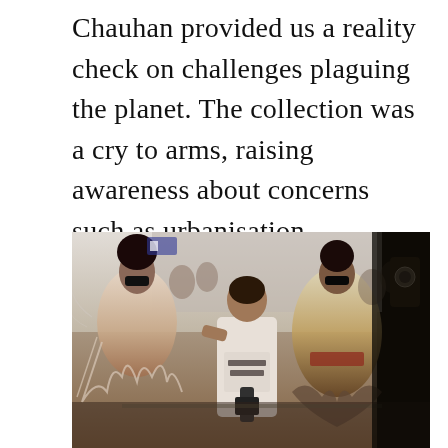Chauhan provided us a reality check on challenges plaguing the planet. The collection was a cry to arms, raising awareness about concerns such as urbanisation, deforestation, and air pollution.
[Figure (photo): Fashion show runway scene showing models and a cameraman walking the runway. Models on the left and right are wearing avant-garde fashion with feathery and floral elements. The center figure is a cameraman in a white t-shirt with 'Andy Warhol' text and a camera stabilizer rig. The background shows an audience and dark staging.]